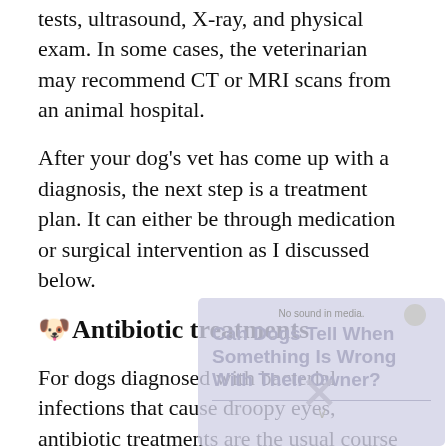tests, ultrasound, X-ray, and physical exam. In some cases, the veterinarian may recommend CT or MRI scans from an animal hospital.
After your dog's vet has come up with a diagnosis, the next step is a treatment plan. It can either be through medication or surgical intervention as I discussed below.
🐶Antibiotic treatments
For dogs diagnosed with bacterial infections that cause droopy eyes, antibiotic treatments are the usual course of treatment. Antibiotics